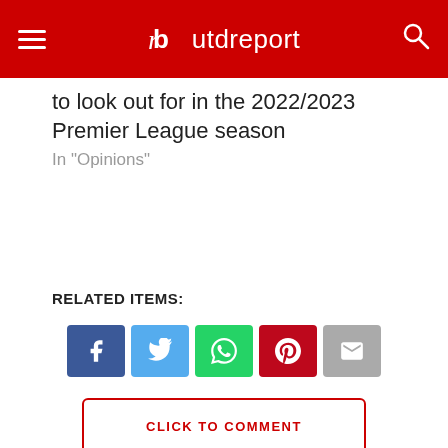utdreport
to look out for in the 2022/2023 Premier League season
In "Opinions"
RELATED ITEMS:
[Figure (other): Social sharing buttons: Facebook, Twitter, WhatsApp, Pinterest, Email]
CLICK TO COMMENT
TRENDING RIGHT NOW